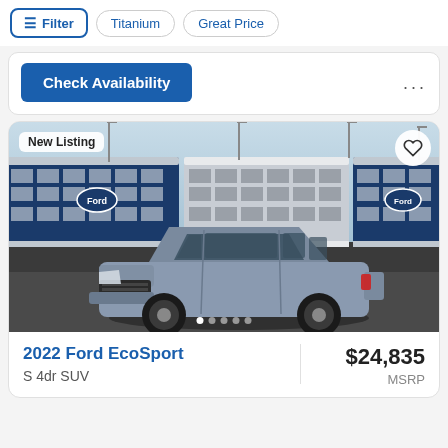Filter | Titanium | Great Price
Check Availability
[Figure (photo): Gray Ford EcoSport SUV parked in front of blue Ford car transport train rail cars. New Listing badge in top left, heart/favorite icon in top right, carousel dots at bottom.]
2022 Ford EcoSport
S 4dr SUV
$24,835 MSRP